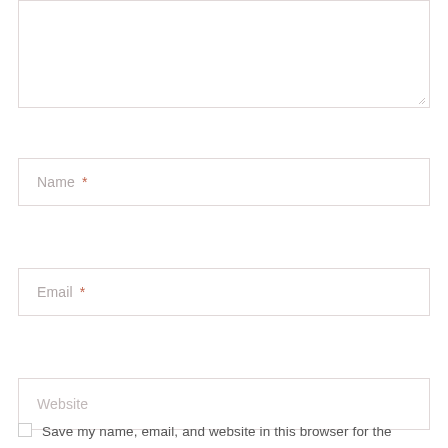[Figure (screenshot): Empty textarea input box with resize handle in bottom-right corner]
Name *
Email *
Website
Save my name, email, and website in this browser for the